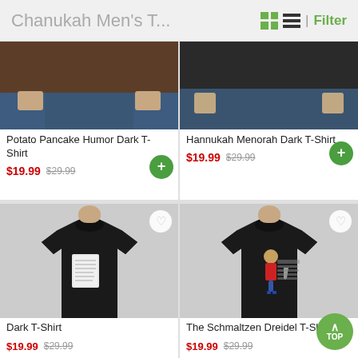Chanukah Men's T... | Filter
[Figure (photo): Partial view of man wearing brown dark t-shirt - Potato Pancake Humor Dark T-Shirt]
[Figure (photo): Partial view of man wearing dark t-shirt - Hannukah Menorah Dark T-Shirt]
Potato Pancake Humor Dark T-Shirt
$19.99 $29.99
Hannukah Menorah Dark T-Shirt
$19.99 $29.99
[Figure (photo): Man wearing black dark t-shirt with small white rectangular graphic - Dark T-Shirt]
[Figure (photo): Man wearing black t-shirt with cartoon character graphic - The Schmaltzen Dreidel T-Shirt]
Dark T-Shirt
$19.99 $29.99
The Schmaltzen Dreidel T-Shirt
$19.99 $29.99